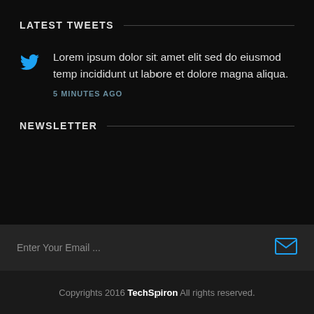LATEST TWEETS
Lorem ipsum dolor sit amet elit sed do eiusmod temp incididunt ut labore et dolore magna aliqua.
5 MINUTES AGO
NEWSLETTER
Enter Your Email ...
Copyrights 2016 TechSpiron All rights reserved.